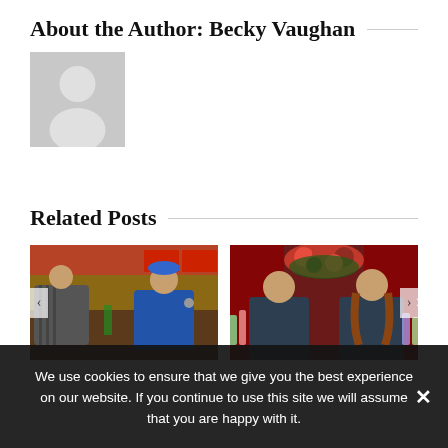About the Author: Becky Vaughan
[Figure (illustration): Gray default avatar/placeholder image showing a silhouette of a person (head and shoulders) on a gray background]
Related Posts
[Figure (photo): Photo of two men at a diner/restaurant counter, one in a striped shirt and one in a blue cap, with a kitchen and menu boards in the background]
[Figure (photo): Photo of two men smiling at a bar with colorful flower arrangements and bottles in the background]
We use cookies to ensure that we give you the best experience on our website. If you continue to use this site we will assume that you are happy with it.